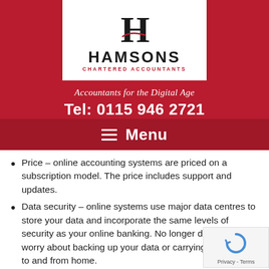[Figure (logo): Hamsons Chartered Accountants logo — large serif H with red swoosh, company name HAMSONS in bold caps, subtitle CHARTERED ACCOUNTANTS in red]
Accountants for the Digital Age
Tel: 0115 946 2721
≡  Menu
Price – online accounting systems are priced on a subscription model. The price includes support and updates.
Data security – online systems use major data centres to store your data and incorporate the same levels of security as your online banking. No longer do you need to worry about backing up your data or carrying your laptop to and from home.